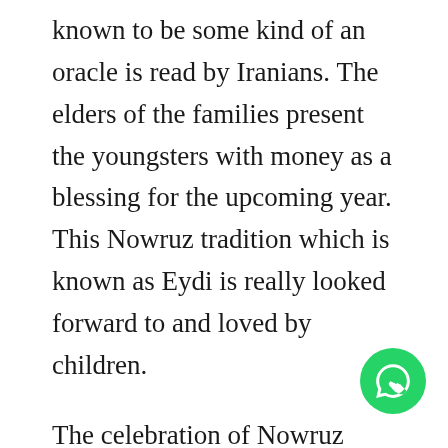known to be some kind of an oracle is read by Iranians. The elders of the families present the youngsters with money as a blessing for the upcoming year. This Nowruz tradition which is known as Eydi is really looked forward to and loved by children.
The celebration of Nowruz nowadays lasts for thirteen days. The first four days are national holidays in Iran. During these thirteen day periods Iranian visit each other's houses and spend quality time together. On therement of Nowruz...